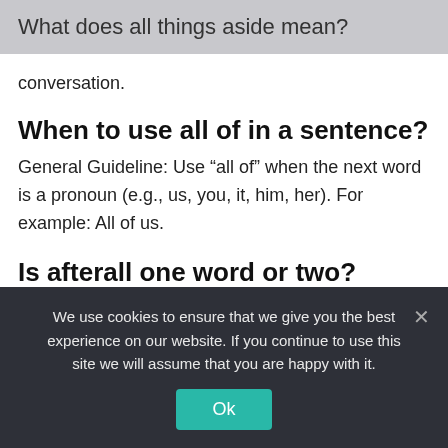What does all things aside mean?
conversation.
When to use all of in a sentence?
General Guideline: Use “all of” when the next word is a pronoun (e.g., us, you, it, him, her). For example: All of us.
Is afterall one word or two?
the common grammar errors I’ve spotted during my many years of editing is the use of “afterall.” This probably
We use cookies to ensure that we give you the best experience on our website. If you continue to use this site we will assume that you are happy with it.